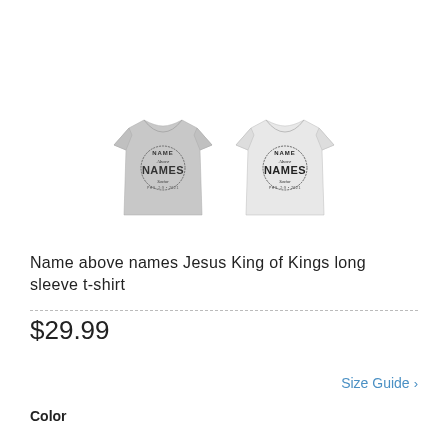[Figure (photo): Two long sleeve t-shirts showing front and back views. Both are light gray/white with 'NAME Above NAMES' graphic print on the chest area in a circular badge style with stars.]
Name above names Jesus King of Kings long sleeve t-shirt
$29.99
Size Guide >
Color